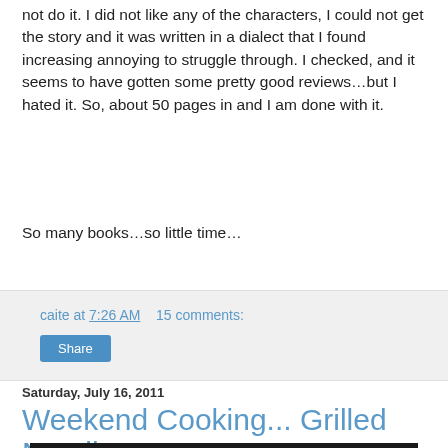not do it. I did not like any of the characters, I could not get the story and it was written in a dialect that I found increasing annoying to struggle through. I checked, and it seems to have gotten some pretty good reviews…but I hated it. So, about 50 pages in and I am done with it.
So many books…so little time…
caite at 7:26 AM    15 comments:
Share
Saturday, July 16, 2011
Weekend Cooking... Grilled Nutella
[Figure (photo): Photograph of food item related to Grilled Nutella]